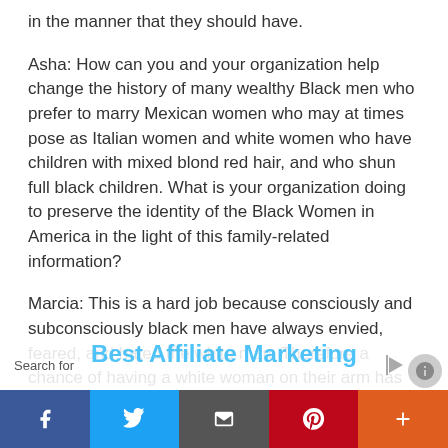in the manner that they should have.
Asha: How can you and your organization help change the history of many wealthy Black men who prefer to marry Mexican women who may at times pose as Italian women and white women who have children with mixed blond red hair, and who shun full black children. What is your organization doing to preserve the identity of the Black Women in America in the light of this family-related information?
Marcia: This is a hard job because consciously and subconsciously black men have always envied, feared, and hated the white man. Therefore a chance of having a white woman on their arm has meant a feeling of worth, power, and acclaim for them as black men. The rich and wealthy black men also hold out for esteem and equalization with white men by having the white woman